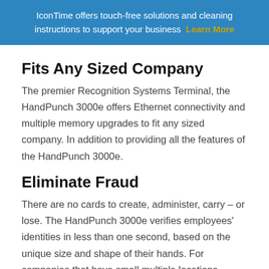IconTime offers touch-free solutions and cleaning instructions to support your business  Learn More
Fits Any Sized Company
The premier Recognition Systems Terminal, the HandPunch 3000e offers Ethernet connectivity and multiple memory upgrades to fit any sized company. In addition to providing all the features of the HandPunch 3000e.
Eliminate Fraud
There are no cards to create, administer, carry – or lose. The HandPunch 3000e verifies employees' identities in less than one second, based on the unique size and shape of their hands. For companies that have small multiple locations, minimal supervision leaves opportunity for buddy punching and time fraud. With the HandPunch